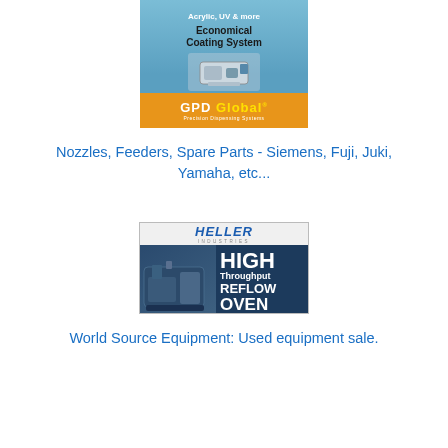[Figure (advertisement): GPD Global Economical Coating System advertisement. Blue background with machine image, orange bottom bar with GPD Global Precision Dispensing Systems logo.]
Nozzles, Feeders, Spare Parts - Siemens, Fuji, Juki, Yamaha, etc...
[Figure (advertisement): Heller Industries High Throughput Reflow Oven advertisement. Shows machine image on dark blue background with bold white text.]
World Source Equipment: Used equipment sale.